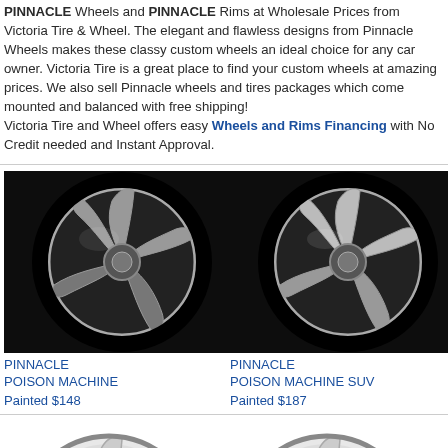PINNACLE Wheels and PINNACLE Rims at Wholesale Prices from Victoria Tire & Wheel. The elegant and flawless designs from Pinnacle Wheels makes these classy custom wheels an ideal choice for any car owner. Victoria Tire is a great place to find your custom wheels at amazing prices. We also sell Pinnacle wheels and tires packages which come mounted and balanced with free shipping! Victoria Tire and Wheel offers easy Wheels and Rims Financing with No Credit needed and Instant Approval.
[Figure (photo): Black and white photo of a chrome Pinnacle Poison Machine wheel with 5 curved spokes on dark background]
PINNACLE
POISON MACHINE
Painted $148
[Figure (photo): Black and white photo of a chrome Pinnacle Poison Machine SUV wheel with 5 curved spokes on dark background]
PINNACLE
POISON MACHINE SUV
Painted $187
[Figure (photo): Partial view of a chrome Pinnacle wheel at bottom left]
[Figure (photo): Partial view of a chrome Pinnacle wheel at bottom right]